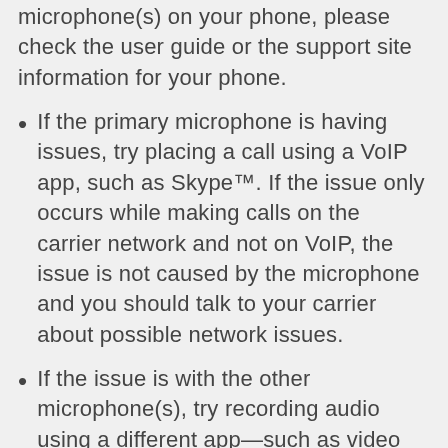microphone(s) on your phone, please check the user guide or the support site information for your phone.
If the primary microphone is having issues, try placing a call using a VoIP app, such as Skype™. If the issue only occurs while making calls on the carrier network and not on VoIP, the issue is not caused by the microphone and you should talk to your carrier about possible network issues.
If the issue is with the other microphone(s), try recording audio using a different app—such as video recording with the Camera app or using a voice recording app. If the issue only occurs with one app, the